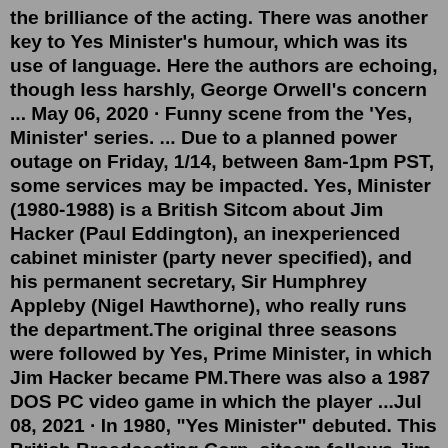the brilliance of the acting. There was another key to Yes Minister's humour, which was its use of language. Here the authors are echoing, though less harshly, George Orwell's concern ... May 06, 2020 · Funny scene from the 'Yes, Minister' series. ... Due to a planned power outage on Friday, 1/14, between 8am-1pm PST, some services may be impacted. Yes, Minister (1980-1988) is a British Sitcom about Jim Hacker (Paul Eddington), an inexperienced cabinet minister (party never specified), and his permanent secretary, Sir Humphrey Appleby (Nigel Hawthorne), who really runs the department.The original three seasons were followed by Yes, Prime Minister, in which Jim Hacker became PM.There was also a 1987 DOS PC video game in which the player ...Jul 08, 2021 · In 1980, "Yes Minister" debuted. This British Broadcasting Corp. sitcom follows Jim Hacker, played by Paul Eddington, head of the fictional Department of Administrative Affairs, as he battles ... One of the BBC's best and most famous series, "Yes, Minister" has been delighting British...